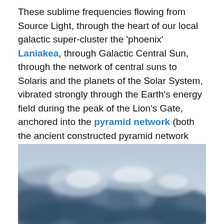These sublime frequencies flowing from Source Light, through the heart of our local galactic super-cluster the 'phoenix' Laniakea, through Galactic Central Sun, through the network of central suns to Solaris and the planets of the Solar System, vibrated strongly through the Earth's energy field during the peak of the Lion's Gate, anchored into the pyramid network (both the ancient constructed pyramid network and Gaia's natural 'mountain pyramids' around the planet that contain higher dimensional creation-coded crystals), with many pyramid shapes appearing once again in the clouds through the days following the 8~8.
[Figure (photo): Photograph of blue and white clouds against a pale sky]